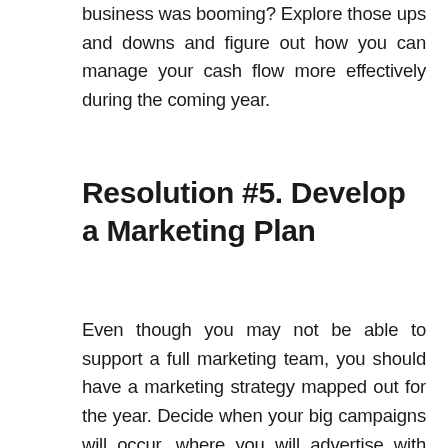business was booming? Explore those ups and downs and figure out how you can manage your cash flow more effectively during the coming year.
Resolution #5. Develop a Marketing Plan
Even though you may not be able to support a full marketing team, you should have a marketing strategy mapped out for the year. Decide when your big campaigns will occur, where you will advertise with print ads, and what sort of message you want to send via social media at different times of the year. For example, if your business does landscaping, you'll be marketing specific services during the spring and others during the fall. In the winter, you could blog about protecting trees and shrubs from harsh weather, while a summer Facebook post could focus on the water needs of lawns and gardens. Sketch out